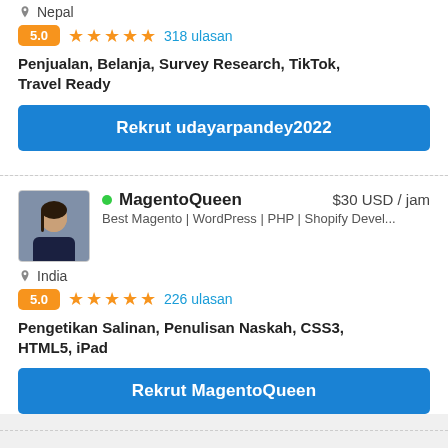Nepal
5.0 ★★★★★ 318 ulasan
Penjualan, Belanja, Survey Research, TikTok, Travel Ready
Rekrut udayarpandey2022
MagentoQueen $30 USD / jam
Best Magento | WordPress | PHP | Shopify Devel...
India
5.0 ★★★★★ 226 ulasan
Pengetikan Salinan, Penulisan Naskah, CSS3, HTML5, iPad
Rekrut MagentoQueen